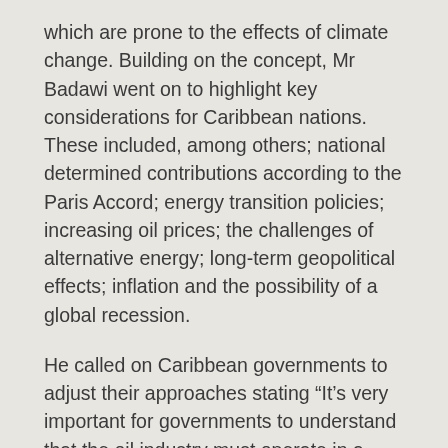which are prone to the effects of climate change. Building on the concept, Mr Badawi went on to highlight key considerations for Caribbean nations. These included, among others; national determined contributions according to the Paris Accord; energy transition policies; increasing oil prices; the challenges of alternative energy; long-term geopolitical effects; inflation and the possibility of a global recession.
He called on Caribbean governments to adjust their approaches stating “It’s very important for governments to understand that the oil industry must operate in a different way and governments must also change the way they approach the oil industry and work with them.” He also encouraged Caribbean governments to look closely at the geo-political changes further afield to guarantee their oil supply,